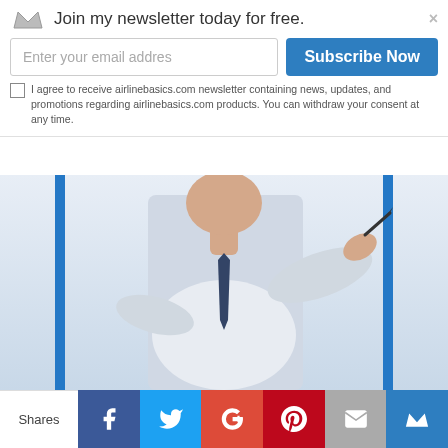Join my newsletter today for free.
Enter your email addres
Subscribe Now
I agree to receive airlinebasics.com newsletter containing news, updates, and promotions regarding airlinebasics.com products. You can withdraw your consent at any time.
[Figure (photo): Person in white shirt and dark tie writing on a glass board, cropped at torso, with blue vertical bars on left and right sides of the image strip]
This website uses cookies to improve your experience. Cookies are small files stored on your user device (computer, mobile phone, tablet or any other device) which allow us to track certain data for the purpose of obtaining statistics information, enable well suited advertising and permitting for some of the web sites functionality. We never collect any personal data from you, and we never use that data for any reason other than the above. If you do not wish to have cookies on your device, you can change the
Shares